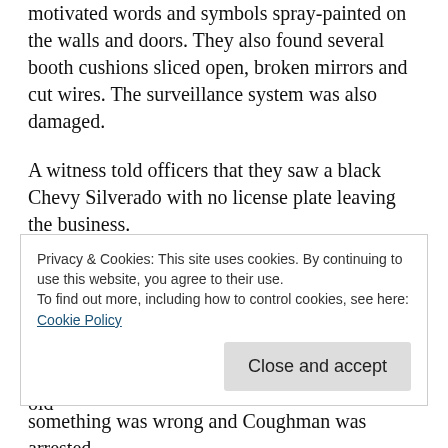motivated words and symbols spray-painted on the walls and doors. They also found several booth cushions sliced open, broken mirrors and cut wires. The surveillance system was also damaged.
A witness told officers that they saw a black Chevy Silverado with no license plate leaving the business.
Officers eventually caught up with that truck and noticed several televisions and electronics in the bed and cab of the vehicle.
The driver of the truck was identified as 31 year old
Privacy & Cookies: This site uses cookies. By continuing to use this website, you agree to their use.
To find out more, including how to control cookies, see here: Cookie Policy
something was wrong and Coughman was arrested